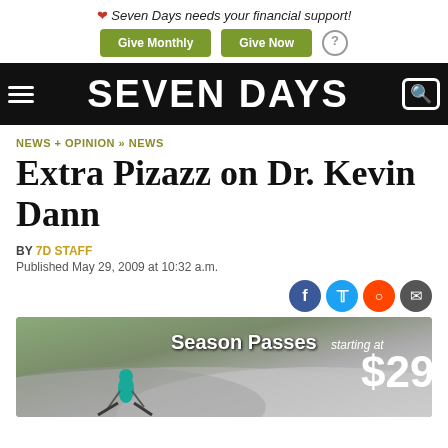♥ Seven Days needs your financial support! [Give Monthly] [Give Now] [?]
SEVEN DAYS
NEWS + OPINION » NEWS
Extra Pizazz on Dr. Kevin Dann
BY 7D STAFF
Published May 29, 2009 at 10:32 a.m.
[Figure (screenshot): Advertisement banner for ski season passes starting at $299, showing a skier on a snowy slope.]